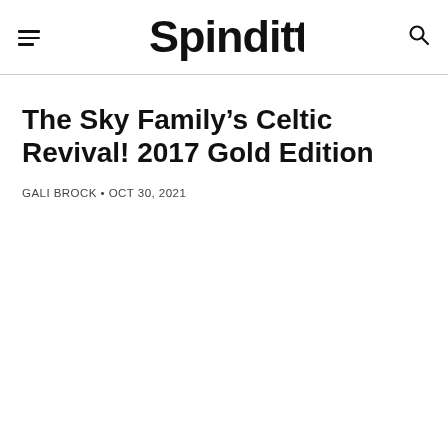Spinditty
The Sky Family’s Celtic Revival! 2017 Gold Edition
GALI BROCK • OCT 30, 2021